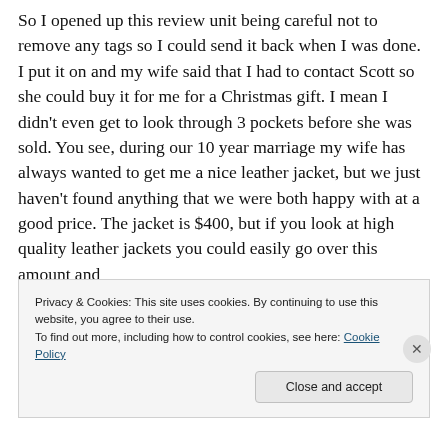So I opened up this review unit being careful not to remove any tags so I could send it back when I was done. I put it on and my wife said that I had to contact Scott so she could buy it for me for a Christmas gift. I mean I didn't even get to look through 3 pockets before she was sold. You see, during our 10 year marriage my wife has always wanted to get me a nice leather jacket, but we just haven't found anything that we were both happy with at a good price. The jacket is $400, but if you look at high quality leather jackets you could easily go over this amount and
Privacy & Cookies: This site uses cookies. By continuing to use this website, you agree to their use.
To find out more, including how to control cookies, see here: Cookie Policy
Close and accept